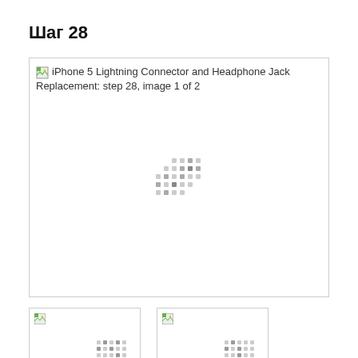Шаг 28
[Figure (photo): iPhone 5 Lightning Connector and Headphone Jack Replacement: step 28, image 1 of 2 — large image placeholder with loading indicator dots]
[Figure (photo): Thumbnail 1 of step 28, image loading placeholder]
[Figure (photo): Thumbnail 2 of step 28, image loading placeholder]